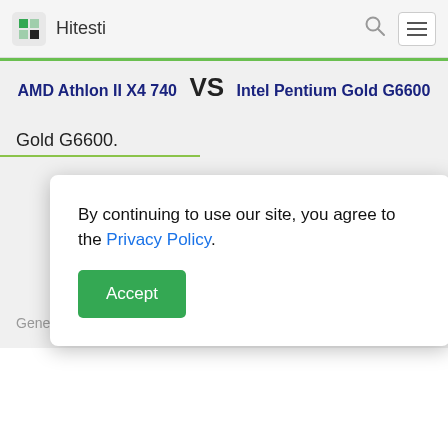Hitesti
AMD Athlon II X4 740 VS Intel Pentium Gold G6600
Gold G6600.
s 630
By continuing to use our site, you agree to the Privacy Policy.
Accept
Generation  9.5